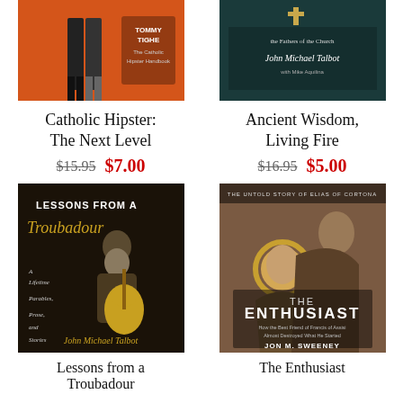[Figure (illustration): Book cover: Catholic Hipster: The Next Level by Tommy Tighe - orange background with people legs visible]
[Figure (illustration): Book cover: Ancient Wisdom, Living Fire - the Fathers of the Church by John Michael Talbot with Mike Aquilina - dark teal background with script text]
Catholic Hipster: The Next Level
$15.95 $7.00
Ancient Wisdom, Living Fire
$16.95 $5.00
[Figure (illustration): Book cover: Lessons from a Troubadour by John Michael Talbot - dark background with elderly bearded man playing guitar]
[Figure (illustration): Book cover: The Enthusiast by Jon M. Sweeney - The Untold Story of Elias of Cortona - painted religious figures]
Lessons from a Troubadour
The Enthusiast